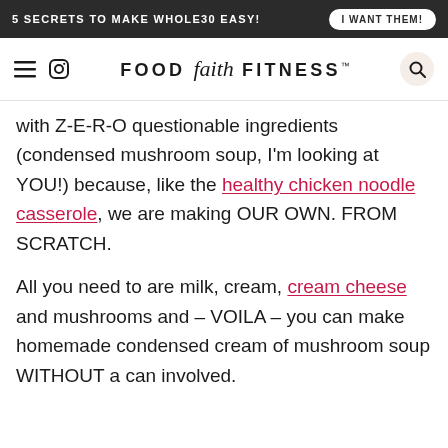5 SECRETS TO MAKE WHOLE30 EASY! | I WANT THEM!
[Figure (logo): Food Faith Fitness logo with hamburger menu icon, Instagram icon, and search icon]
with Z-E-R-O questionable ingredients (condensed mushroom soup, I'm looking at YOU!) because, like the healthy chicken noodle casserole, we are making OUR OWN. FROM SCRATCH.
All you need to are milk, cream, cream cheese and mushrooms and – VOILA – you can make homemade condensed cream of mushroom soup WITHOUT a can involved.